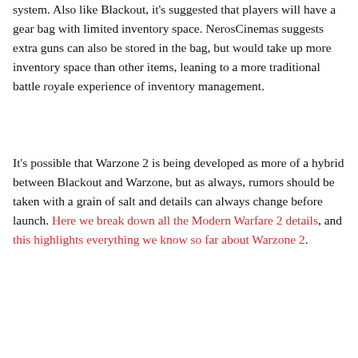system. Also like Blackout, it's suggested that players will have a gear bag with limited inventory space. NerosCinemas suggests extra guns can also be stored in the bag, but would take up more inventory space than other items, leaning to a more traditional battle royale experience of inventory management.
It's possible that Warzone 2 is being developed as more of a hybrid between Blackout and Warzone, but as always, rumors should be taken with a grain of salt and details can always change before launch. Here we break down all the Modern Warfare 2 details, and this highlights everything we know so far about Warzone 2.